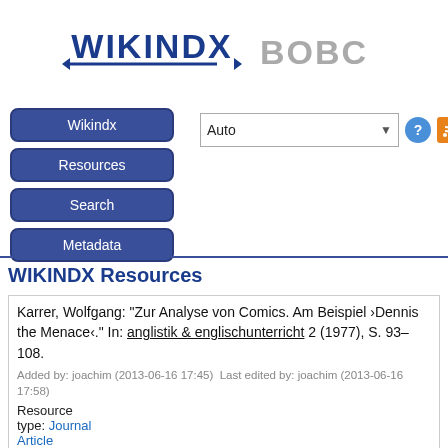[Figure (logo): WIKINDX logo with arrows and BOBC text]
Wikindx
Resources
Search
Metadata
WIKINDX Resources
Karrer, Wolfgang: "Zur Analyse von Comics. Am Beispiel ›Dennis the Menace‹." In: anglistik & englischunterricht 2 (1977), S. 93–108.
Added by: joachim (2013-06-16 17:45)  Last edited by: joachim (2013-06-16 17:58)
Resource type: Journal Article